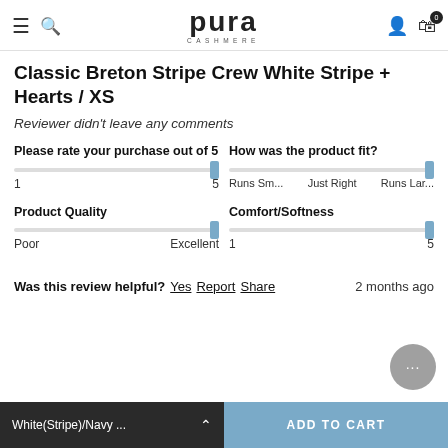pura CASHMERE
Classic Breton Stripe Crew White Stripe + Hearts / XS
Reviewer didn't leave any comments
Please rate your purchase out of 5 — slider at max (5)
How was the product fit? — slider at max (Runs Lar...)
Product Quality — slider at max (Excellent)
Comfort/Softness — slider at 5
Was this review helpful? Yes Report Share — 2 months ago